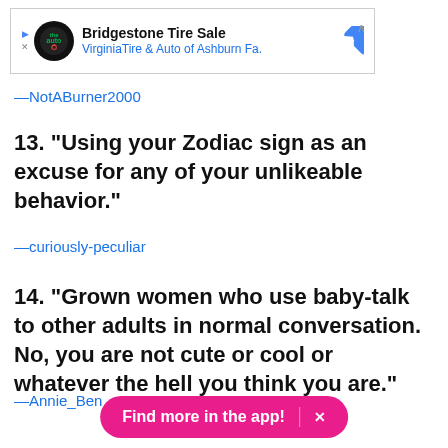[Figure (screenshot): Advertisement banner for Bridgestone Tire Sale by Virginia Tire & Auto of Ashburn Fa.]
—NotABurner2000
13. "Using your Zodiac sign as an excuse for any of your unlikeable behavior."
—curiously-peculiar
14. "Grown women who use baby-talk to other adults in normal conversation. No, you are not cute or cool or whatever the hell you think you are."
—Annie_Ben
[Figure (screenshot): Pink pill-shaped button reading 'Find more in the app!' with an X close button]